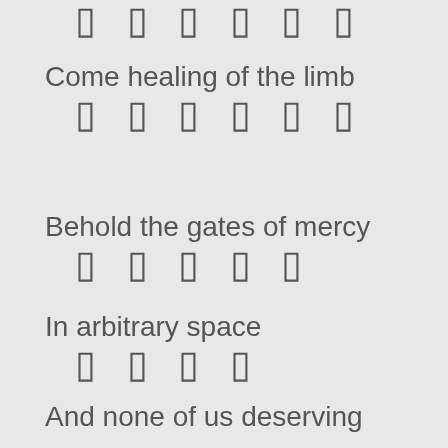▯ ▯ ▯ ▯ ▯ ▯
Come healing of the limb
▯ ▯ ▯ ▯ ▯ ▯
Behold the gates of mercy
▯ ▯ ▯ ▯ ▯
In arbitrary space
▯ ▯ ▯ ▯
And none of us deserving
▯ ▯ ▯ ▯ ▯ ▯